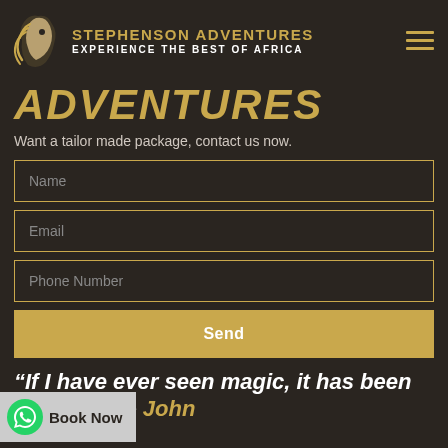STEPHENSON ADVENTURES — EXPERIENCE THE BEST OF AFRICA
ADVENTURES
Want a tailor made package, contact us now.
[Figure (screenshot): Contact form with Name, Email, Phone Number fields and a Send button]
“If I have ever seen magic, it has been in Africa.” – John
[Figure (logo): WhatsApp Book Now button overlay in bottom left]